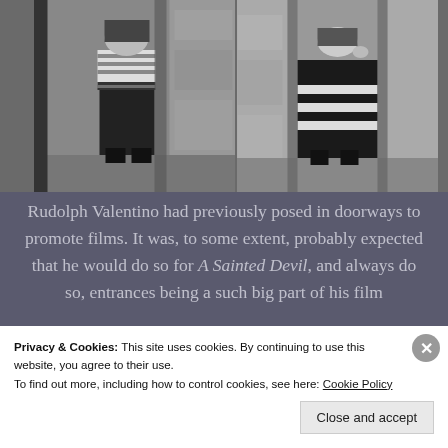[Figure (photo): Two black and white photographs side by side showing figures posed in doorways, wearing traditional or period clothing. The left photo shows a person in striped top and dark pants near a stone doorway. The right photo shows a person in a dark robe or coat with horizontal stripes near a similar doorway.]
Rudolph Valentino had previously posed in doorways to promote films. It was, to some extent, probably expected that he would do so for A Sainted Devil, and always do so, entrances being a such big part of his film
Privacy & Cookies: This site uses cookies. By continuing to use this website, you agree to their use.
To find out more, including how to control cookies, see here: Cookie Policy
Close and accept